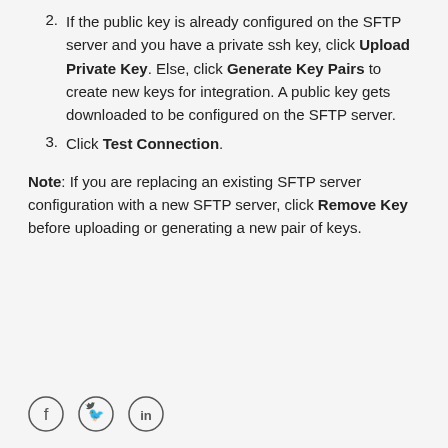2. If the public key is already configured on the SFTP server and you have a private ssh key, click Upload Private Key. Else, click Generate Key Pairs to create new keys for integration. A public key gets downloaded to be configured on the SFTP server.
3. Click Test Connection.
Note: If you are replacing an existing SFTP server configuration with a new SFTP server, click Remove Key before uploading or generating a new pair of keys.
[Figure (illustration): Social media icons: Facebook, Twitter, LinkedIn]